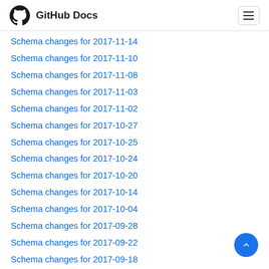GitHub Docs
Schema changes for 2017-11-14
Schema changes for 2017-11-10
Schema changes for 2017-11-08
Schema changes for 2017-11-03
Schema changes for 2017-11-02
Schema changes for 2017-10-27
Schema changes for 2017-10-25
Schema changes for 2017-10-24
Schema changes for 2017-10-20
Schema changes for 2017-10-14
Schema changes for 2017-10-04
Schema changes for 2017-09-28
Schema changes for 2017-09-22
Schema changes for 2017-09-18
Schema changes for 2017-09-15
Schema changes for 2017-09-14
Schema changes for 2017-09-13
Schema changes for 2017-09-11